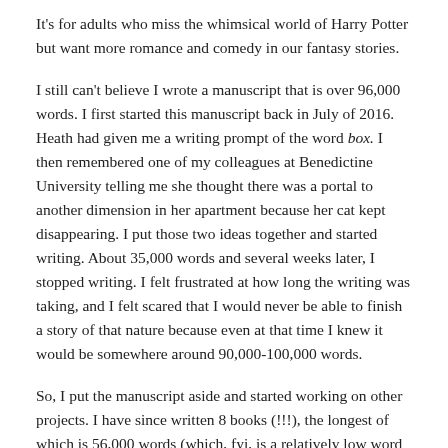It's for adults who miss the whimsical world of Harry Potter but want more romance and comedy in our fantasy stories.
I still can't believe I wrote a manuscript that is over 96,000 words. I first started this manuscript back in July of 2016. Heath had given me a writing prompt of the word box. I then remembered one of my colleagues at Benedictine University telling me she thought there was a portal to another dimension in her apartment because her cat kept disappearing. I put those two ideas together and started writing. About 35,000 words and several weeks later, I stopped writing. I felt frustrated at how long the writing was taking, and I felt scared that I would never be able to finish a story of that nature because even at that time I knew it would be somewhere around 90,000-100,000 words.
So, I put the manuscript aside and started working on other projects. I have since written 8 books (!!!), the longest of which is 56,000 words (which, fyi, is a relatively low word